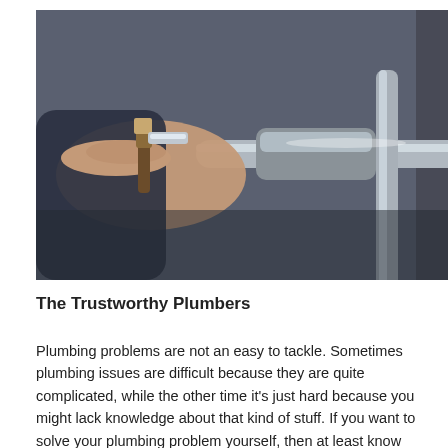[Figure (photo): Close-up photo of a person's hand holding a brush or tool near metallic plumbing faucet fixtures, with a blurred background showing plumbing equipment.]
The Trustworthy Plumbers
Plumbing problems are not an easy to tackle. Sometimes plumbing issues are difficult because they are quite complicated, while the other time it's just hard because you might lack knowledge about that kind of stuff. If you want to solve your plumbing problem yourself, then at least know what you're doing first. It has been seen that most people invest their money in an emergency plumber who isn't even qualified, don't provide proper service and in result charge entire day rate for less than half hour work. But in case if the scenario is opposite where you have hired a professional but